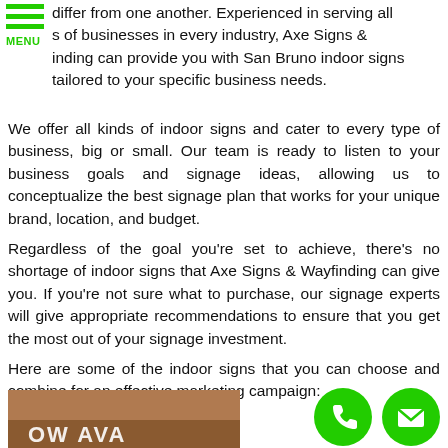[Figure (other): Green hamburger menu icon with three horizontal green bars and the label MENU in green text]
differ from one another. Experienced in serving all s of businesses in every industry, Axe Signs & inding can provide you with San Bruno indoor signs tailored to your specific business needs.
We offer all kinds of indoor signs and cater to every type of business, big or small. Our team is ready to listen to your business goals and signage ideas, allowing us to conceptualize the best signage plan that works for your unique brand, location, and budget.
Regardless of the goal you're set to achieve, there's no shortage of indoor signs that Axe Signs & Wayfinding can give you. If you're not sure what to purchase, our signage experts will give appropriate recommendations to ensure that you get the most out of your signage investment.
Here are some of the indoor signs that you can choose and combine for an effective marketing campaign:
[Figure (photo): Partial photo of a sign with text 'OW AVA' visible in red/orange color on a dark background]
[Figure (other): Two green circular contact icons: a phone handset icon and an envelope/email icon]